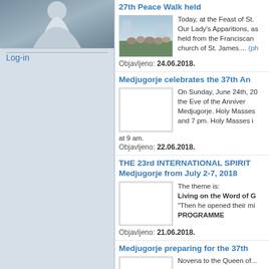[Figure (photo): Photo of a religious figure in white robes in the left sidebar]
Log-in
27th Peace Walk held
[Figure (photo): Photo of a crowd of people gathered outdoors for the Peace Walk]
Today, at the Feast of St. Our Lady's Apparitions, as held from the Franciscan church of St. James.... (ph
Objavljeno: 24.06.2018.
Medjugorje celebrates the 37th An
[Figure (photo): Placeholder image for Medjugorje 37th Anniversary article]
On Sunday, June 24th, 20 the Eve of the Anniver Medjugorje. Holy Masses and 7 pm. Holy Masses i at 9 am.
Objavljeno: 22.06.2018.
THE 23rd INTERNATIONAL SPIRIT Medjugorje from July 2-7, 2018
[Figure (photo): Placeholder image for the 23rd International Spiritual event]
The theme is:
Living on the Word of G
"Then he opened their mi
PROGRAMME
Objavljeno: 21.06.2018.
Medjugorje preparing for the 37th
[Figure (photo): Placeholder image for Medjugorje preparing article]
Novena to the Queen of...